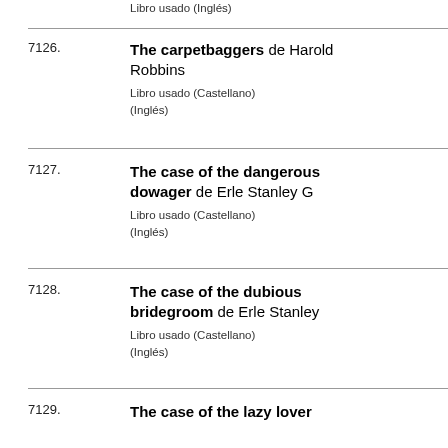Libro usado (Inglés)
7126. The carpetbaggers de Harold Robbins
Libro usado (Castellano)
(Inglés)
7127. The case of the dangerous dowager de Erle Stanley G
Libro usado (Castellano)
(Inglés)
7128. The case of the dubious bridegroom de Erle Stanley
Libro usado (Castellano)
(Inglés)
7129. The case of the lazy lover